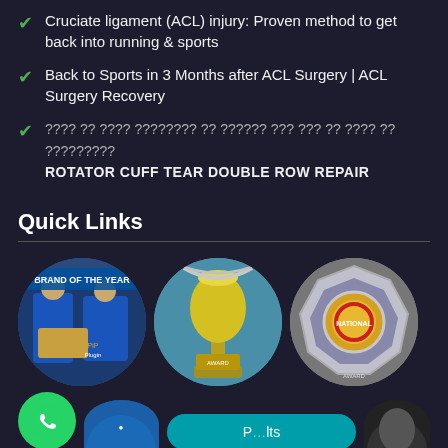Cruciate ligament (ACL) injury: Proven method to get back into running & sports
Back to Sports in 3 Months after ACL Surgery | ACL Surgery Recovery
???? ?? ???? ???????? ?? ?????? ??? ??? ?? ???? ?? ????????? ROTATOR CUFF TEAR DOUBLE ROW REPAIR
Quick Links
[Figure (photo): Circular photo showing two men in blue suits at a Brand of the Year award event with Pi Plugin branding]
[Figure (photo): Circular photo of a silver trophy with a chain, displayed against a blue background with a plaque]
[Figure (photo): Circular photo of an octagonal silver medal/plate award]
[Figure (photo): WhatsApp green phone button icon]
[Figure (photo): Partial circular image and teal pill button with text, and partial circular photo on right]